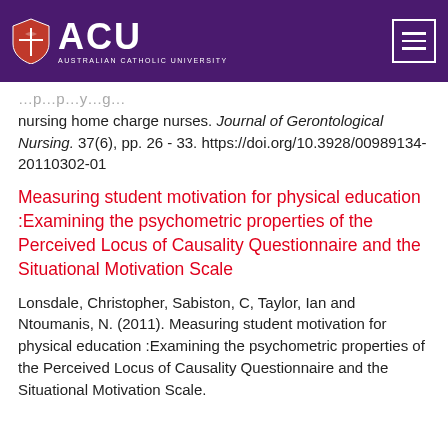[Figure (logo): Australian Catholic University (ACU) logo with shield emblem and hamburger menu button on dark purple header bar]
nursing home charge nurses. Journal of Gerontological Nursing. 37(6), pp. 26 - 33. https://doi.org/10.3928/00989134-20110302-01
Measuring student motivation for physical education :Examining the psychometric properties of the Perceived Locus of Causality Questionnaire and the Situational Motivation Scale
Lonsdale, Christopher, Sabiston, C, Taylor, Ian and Ntoumanis, N. (2011). Measuring student motivation for physical education :Examining the psychometric properties of the Perceived Locus of Causality Questionnaire and the Situational Motivation Scale.